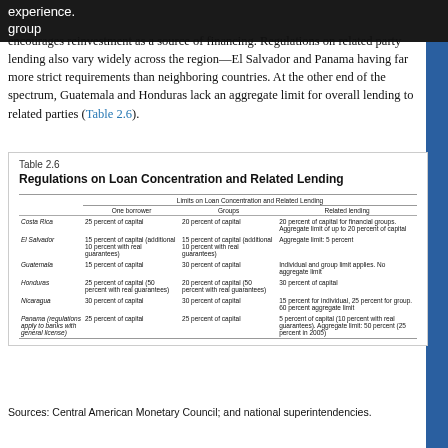group experience. encourages reinvestment as a source of financing. Regulations on related party lending also vary widely across the region—El Salvador and Panama having far more strict requirements than neighboring countries. At the other end of the spectrum, Guatemala and Honduras lack an aggregate limit for overall lending to related parties (Table 2.6).
Table 2.6
Regulations on Loan Concentration and Related Lending
|  | One borrower | Groups | Related lending |
| --- | --- | --- | --- |
| Costa Rica | 25 percent of capital | 20 percent of capital | 20 percent of capital for financial groups. Aggregate limit of up to 20 percent of capital |
| El Salvador | 15 percent of capital (additional 10 percent with real guarantees) | 15 percent of capital (additional 10 percent with real guarantees) | Aggregate limit: 5 percent |
| Guatemala | 15 percent of capital | 30 percent of capital | Individual and group limit applies. No aggregate limit |
| Honduras | 25 percent of capital (50 percent with real guarantees) | 20 percent of capital (50 percent with real guarantees) | 30 percent of capital |
| Nicaragua | 30 percent of capital | 30 percent of capital | 15 percent for individual, 25 percent for group. 60 percent aggregate limit |
| Panama (regulations apply to banks with general license) | 25 percent of capital | 25 percent of capital | 5 percent of capital (10 percent with real guarantees). Aggregate limit: 50 percent (25 percent in 2005) |
Sources: Central American Monetary Council; and national superintendencies.